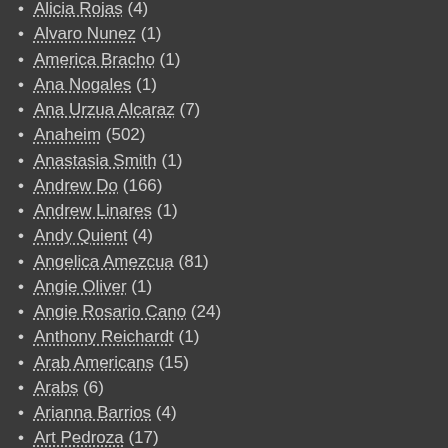Alicia Rojas (4)
Alvaro Nunez (1)
America Bracho (1)
Ana Nogales (1)
Ana Urzua Alcaraz (7)
Anaheim (502)
Anastasia Smith (1)
Andrew Do (166)
Andrew Linares (1)
Andy Quient (4)
Angelica Amezcua (81)
Angie Oliver (1)
Angie Rosario Cano (24)
Anthony Reichardt (1)
Arab Americans (15)
Arabs (6)
Arianna Barrios (4)
Art Pedroza (17)
Arts and Culture (1,078)
Asians (65)
Attorney General Candidates (1)
Audrey Noji (4)